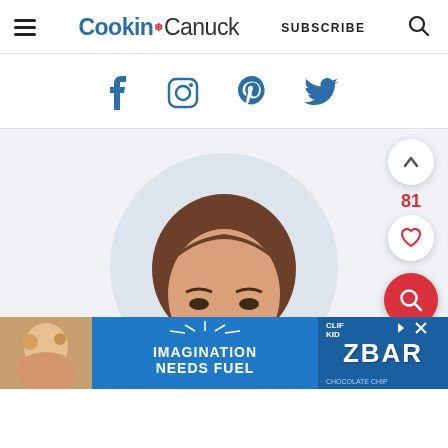Cookin' Canuck — SUBSCRIBE
[Figure (screenshot): Social media icons: Facebook, Instagram, Pinterest, Twitter in blue]
[Figure (photo): Woman's face peeking up from below center of a circular light-colored background, with floating action buttons (scroll up, heart/like showing 81, red search) on the right, and an advertisement banner at the bottom for Clif Kid ZBAR with text IMAGINATION NEEDS FUEL]